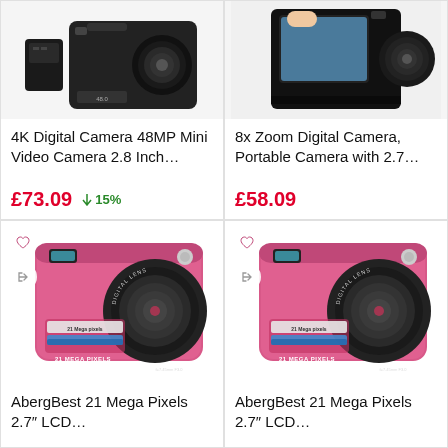[Figure (photo): 4K Digital Camera product photo showing a small black camera with battery]
4K Digital Camera 48MP Mini Video Camera 2.8 Inch…
£73.09
↓ 15%
[Figure (photo): 8x Zoom Digital Camera product photo showing a black camera with screen]
8x Zoom Digital Camera, Portable Camera with 2.7…
£58.09
[Figure (photo): AbergBest 21 Mega Pixels pink compact digital camera with DIGITAL LENS label]
AbergBest 21 Mega Pixels 2.7″ LCD…
[Figure (photo): AbergBest 21 Mega Pixels pink compact digital camera with DIGITAL LENS label (duplicate)]
AbergBest 21 Mega Pixels 2.7″ LCD…